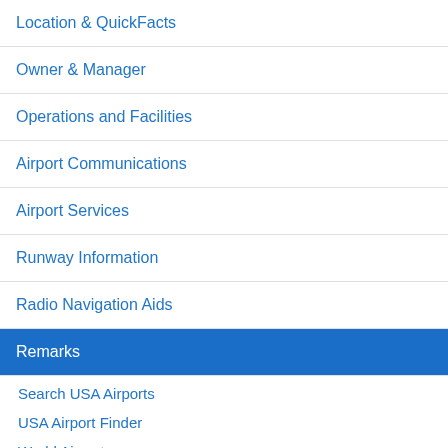Location & QuickFacts
Owner & Manager
Operations and Facilities
Airport Communications
Airport Services
Runway Information
Radio Navigation Aids
Remarks
Search USA Airports
USA Airport Finder
World Airports
Search World Airports
Upload Airport Photo
Random Airport Photos
Recent Airport Photos
RY 07 HAS 3 FT DITCH 80 F...
6-8 FT BRUSH PARALLEL TO...
6-8 FT BRUSH PARALLEL TO...
NO OBJECTION
Aircraft
Search Aircraft & Photo
Browse by Manufacturer
Add New Aircraft
Upload Aircraft Photo
Random Aircraft Photos
Recent Aircraft Photos